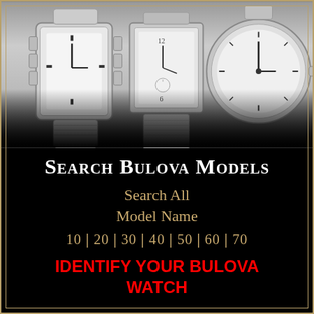[Figure (photo): Black and white photograph of multiple Bulova watches displayed together, showing various vintage models with different case shapes and band styles.]
Search Bulova Models
Search All
Model Name
10 | 20 | 30 | 40 | 50 | 60 | 70
IDENTIFY YOUR BULOVA WATCH